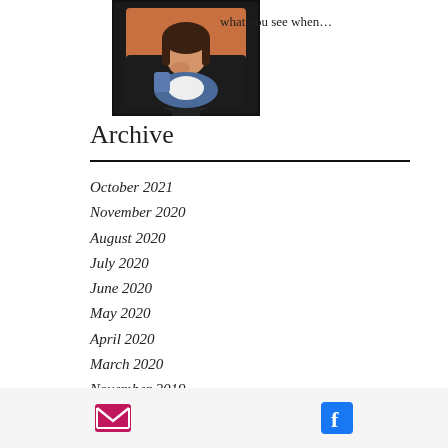[Figure (photo): A young woman with tattoos reflected in a car side mirror, looking at the camera, warm sunlight in the background.]
what you see when…
Archive
October 2021
November 2020
August 2020
July 2020
June 2020
May 2020
April 2020
March 2020
November 2019
Email icon | Facebook icon